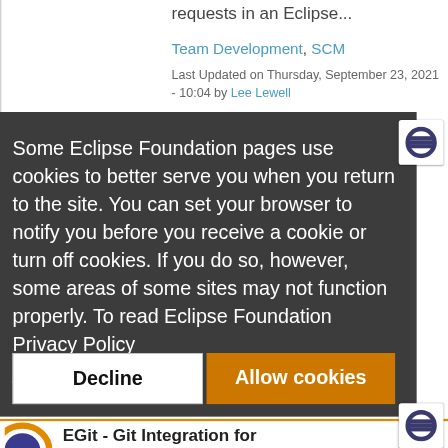requests in an Eclipse...
Team Development, SCM
Last Updated on Thursday, September 23, 2021 - 10:04 by Lee Lewell
Some Eclipse Foundation pages use cookies to better serve you when you return to the site. You can set your browser to notify you before you receive a cookie or turn off cookies. If you do so, however, some areas of some sites may not function properly. To read Eclipse Foundation Privacy Policy click here.
Decline
Allow cookies
EGit - Git Integration for